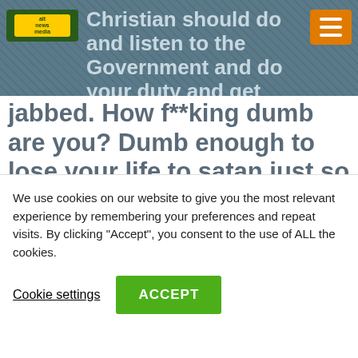Christian should do and listen to the Government and do your duty and get
jabbed. How f**king dumb are you? Dumb enough to lose your life to satan just so hopefully “this all ends.”  So you can keep your job? Be able to go to school? Going into instant slavery because the Government locked you down and not being able to see your mom at the nursing home unless I get the bite? The Government locked down going to church
We use cookies on our website to give you the most relevant experience by remembering your preferences and repeat visits. By clicking “Accept”, you consent to the use of ALL the cookies.
Cookie settings   ACCEPT